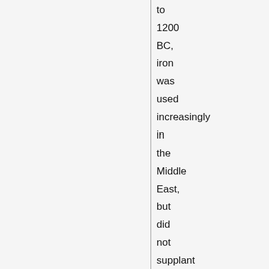to 1200 BC, iron was used increasingly in the Middle East, but did not supplant